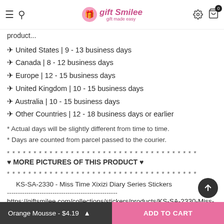gift Smilee
product...
✈ United States | 9 - 13 business days
✈ Canada | 8 - 12 business days
✈ Europe | 12 - 15 business days
✈ United Kingdom | 10 - 15 business days
✈ Australia | 10 - 15 business days
✈ Other Countries | 12 - 18 business days or earlier
* Actual days will be slightly different from time to time.
* Days are counted from parcel passed to the courier.
* * * * * * * * * * * * * * * * * * * * * * * * * * * * * * * * * * * *
♥ MORE PICTURES OF THIS PRODUCT ♥
* * * * * * * * * * * * * * * * * * * * * * * * * * * * * * * * * * * *
KS-SA-2330 - Miss Time Xixizi Diary Series Stickers
---------------------------------------------------
https://giftsmilee.com/collections/stickers/products/KS-SA-2330-Miss-Time-Xixizi-Diary-Series
Orange Mousse - $4.19   ADD TO CART